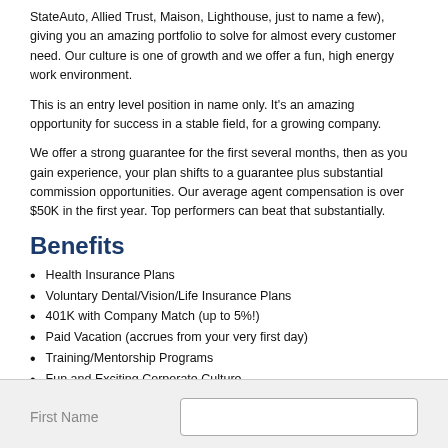StateAuto, Allied Trust, Maison, Lighthouse, just to name a few), giving you an amazing portfolio to solve for almost every customer need. Our culture is one of growth and we offer a fun, high energy work environment.
This is an entry level position in name only. It's an amazing opportunity for success in a stable field, for a growing company.
We offer a strong guarantee for the first several months, then as you gain experience, your plan shifts to a guarantee plus substantial commission opportunities. Our average agent compensation is over $50K in the first year. Top performers can beat that substantially.
Benefits
Health Insurance Plans
Voluntary Dental/Vision/Life Insurance Plans
401K with Company Match (up to 5%!)
Paid Vacation (accrues from your very first day)
Training/Mentorship Programs
Fun and Exciting Corporate Culture
First Name